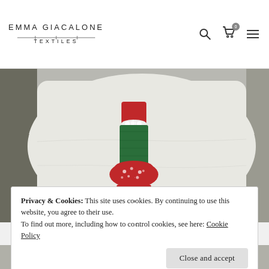EMMA GIACALONE TEXTILES
[Figure (photo): White fabric cushion/pillow with a decorative appliqué design of a wine bottle made from red and green patterned fabric, in a domestic setting]
Privacy & Cookies: This site uses cookies. By continuing to use this website, you agree to their use.
To find out more, including how to control cookies, see here: Cookie Policy
Close and accept